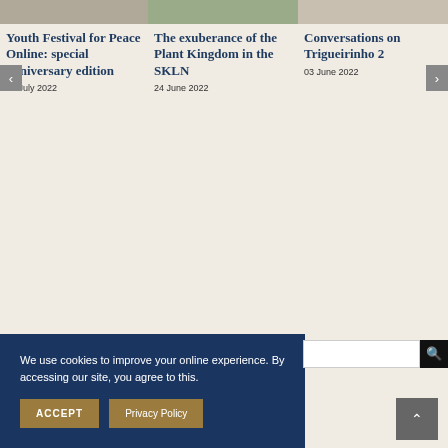Youth Festival for Peace Online: special anniversary edition
30 July 2022
The exuberance of the Plant Kingdom in the SKLN
24 June 2022
Conversations on Trigueirinho 2
03 June 2022
We use cookies to improve your online experience. By accessing our site, you agree to this.
ACCEPT
Privacy Policy